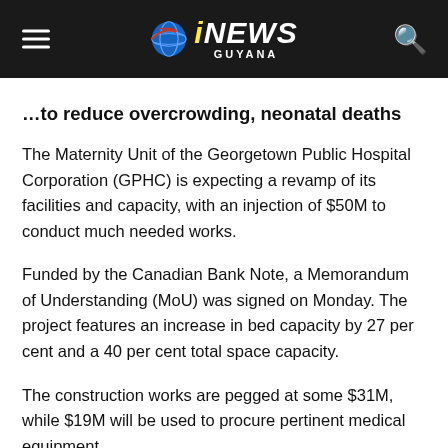iNEWS GUYANA
…to reduce overcrowding, neonatal deaths
The Maternity Unit of the Georgetown Public Hospital Corporation (GPHC) is expecting a revamp of its facilities and capacity, with an injection of $50M to conduct much needed works.
Funded by the Canadian Bank Note, a Memorandum of Understanding (MoU) was signed on Monday. The project features an increase in bed capacity by 27 per cent and a 40 per cent total space capacity.
The construction works are pegged at some $31M, while $19M will be used to procure pertinent medical equipment.